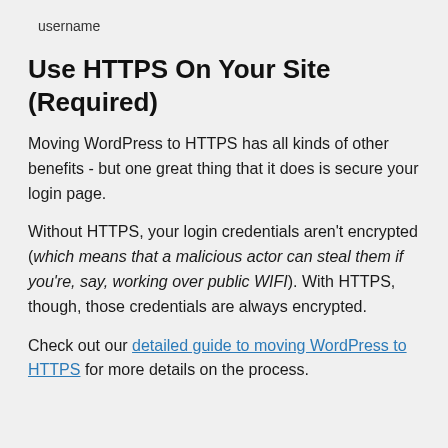username
Use HTTPS On Your Site (Required)
Moving WordPress to HTTPS has all kinds of other benefits - but one great thing that it does is secure your login page.
Without HTTPS, your login credentials aren't encrypted (which means that a malicious actor can steal them if you're, say, working over public WIFI). With HTTPS, though, those credentials are always encrypted.
Check out our detailed guide to moving WordPress to HTTPS for more details on the process.